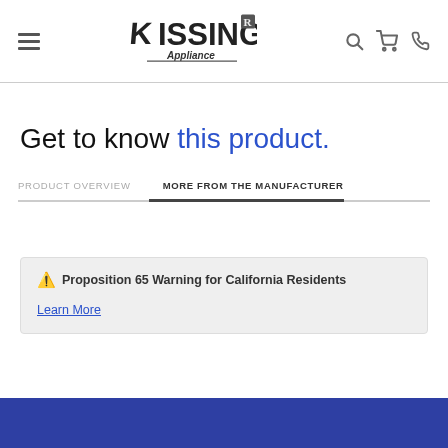[Figure (logo): Kissinger Appliance logo with stylized lettering]
Get to know this product.
PRODUCT OVERVIEW
MORE FROM THE MANUFACTURER
⚠ Proposition 65 Warning for California Residents
Learn More